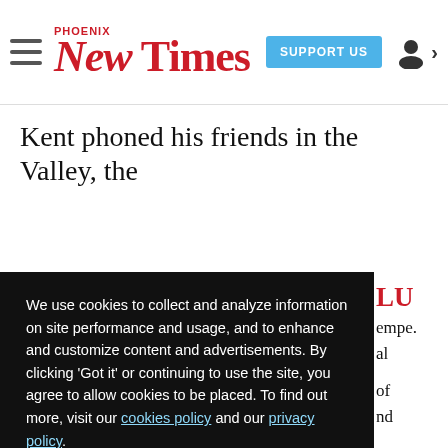Phoenix New Times — SUPPORT US
Kent phoned his friends in the Valley, the
We use cookies to collect and analyze information on site performance and usage, and to enhance and customize content and advertisements. By clicking 'Got it' or continuing to use the site, you agree to allow cookies to be placed. To find out more, visit our cookies policy and our privacy policy.
Got it!
LU
empe.
al
of
nd
BLU